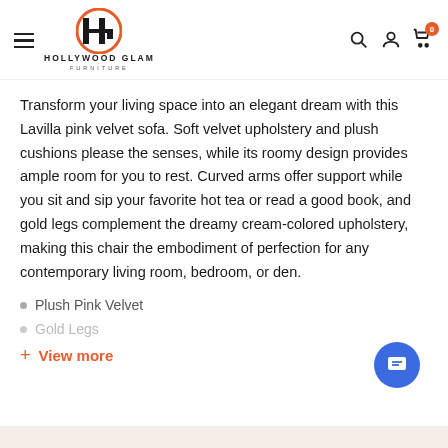[Figure (logo): Hollywood Glam Furniture logo with stylized H and G letters, orange circle accent, and company name below]
Transform your living space into an elegant dream with this Lavilla pink velvet sofa. Soft velvet upholstery and plush cushions please the senses, while its roomy design provides ample room for you to rest. Curved arms offer support while you sit and sip your favorite hot tea or read a good book, and gold legs complement the dreamy cream-colored upholstery, making this chair the embodiment of perfection for any contemporary living room, bedroom, or den.
Plush Pink Velvet
Gold Legs
+ View more